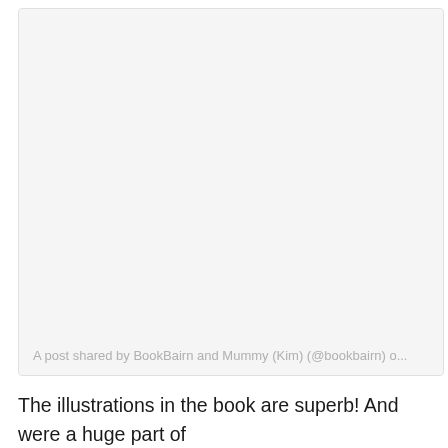[Figure (screenshot): Embedded social media post card with light gray background. Caption reads: A post shared by BookBairn and Mummy (Kim) (@bookbairn) o...]
A post shared by BookBairn and Mummy (Kim) (@bookbairn) o...
The illustrations in the book are superb! And were a huge part of